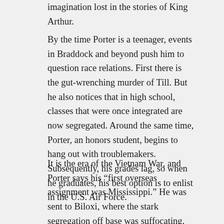imagination lost in the stories of King Arthur.
By the time Porter is a teenager, events in Braddock and beyond push him to question race relations. First there is the gut-wrenching murder of Till. But he also notices that in high school, classes that were once integrated are now segregated. Around the same time, Porter, an honors student, begins to hang out with troublemakers. Subsequently, his grades lag, so when he graduates, his best option is to enlist in the U.S. Air Force.
It is the era of the Vietnam War, and Porter says his “first overseas assignment was Mississippi.” He was sent to Biloxi, where the stark segregation off base was suffocating. Airmen who could be friendly on base weren’t allowed to eat together or even walk together when they ventured into town. The glaring